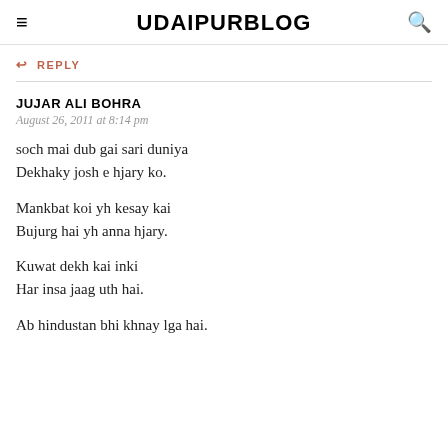UDAIPURBLOG
REPLY
JUJAR ALI BOHRA
August 26, 2011 at 8:14 pm

soch mai dub gai sari duniya
Dekhaky josh e hjary ko.

Mankbat koi yh kesay kai
Bujurg hai yh anna hjary.

Kuwat dekh kai inki
Har insa jaag uth hai.

Ab hindustan bhi khnay lga hai.